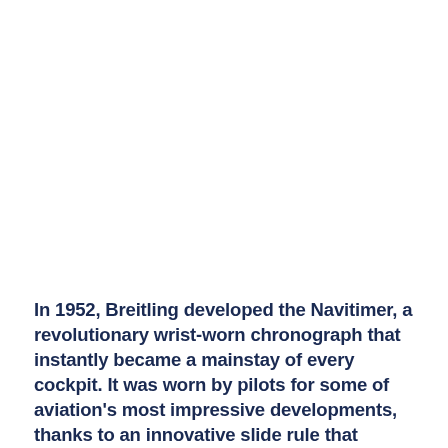In 1952, Breitling developed the Navitimer, a revolutionary wrist-worn chronograph that instantly became a mainstay of every cockpit. It was worn by pilots for some of aviation's most impressive developments, thanks to an innovative slide rule that enabled them to make all critical flight calculations. Breitling has now unveiled the